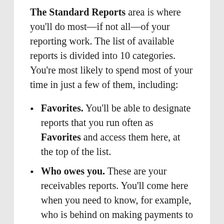The Standard Reports area is where you'll do most—if not all—of your reporting work. The list of available reports is divided into 10 categories. You're most likely to spend most of your time in just a few of them, including:
Favorites. You'll be able to designate reports that you run often as Favorites and access them here, at the top of the list.
Who owes you. These are your receivables reports. You'll come here when you need to know, for example, who is behind on making payments to you, how much individual customers